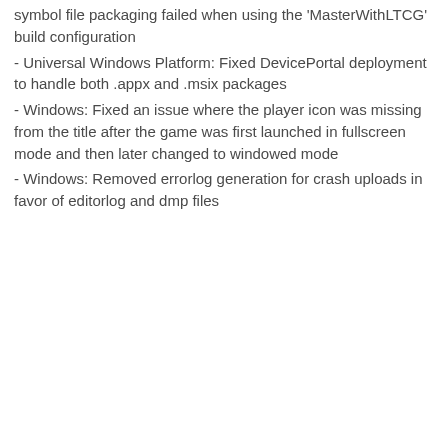symbol file packaging failed when using the 'MasterWithLTCG' build configuration
- Universal Windows Platform: Fixed DevicePortal deployment to handle both .appx and .msix packages
- Windows: Fixed an issue where the player icon was missing from the title after the game was first launched in fullscreen mode and then later changed to windowed mode
- Windows: Removed errorlog generation for crash uploads in favor of editorlog and dmp files